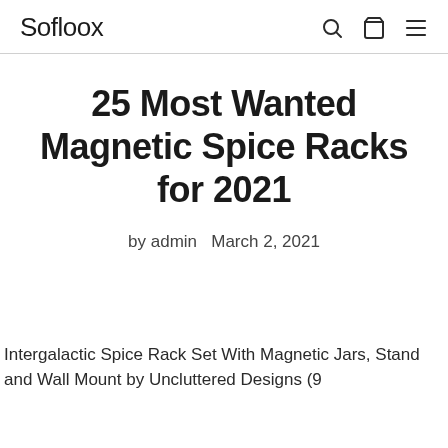Sofloox
25 Most Wanted Magnetic Spice Racks for 2021
by admin  March 2, 2021
Intergalactic Spice Rack Set With Magnetic Jars, Stand and Wall Mount by Uncluttered Designs (9